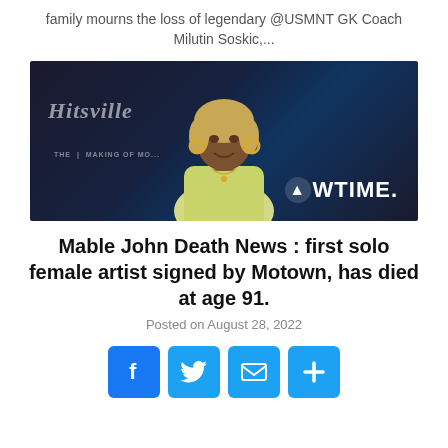family mourns the loss of legendary @USMNT GK Coach Milutin Soskic,...
[Figure (photo): Elderly Black woman with short blonde bob hair, wearing a yellow blazer and gold hoop earrings, smiling at a Hitsville: The Making of Motown / Showtime event, dark background.]
Mable John Death News : first solo female artist signed by Motown, has died at age 91.
Posted on August 28, 2022
[Figure (infographic): Four social share buttons: Facebook (blue F), Twitter (blue bird), Email (blue envelope), More (blue plus sign)]